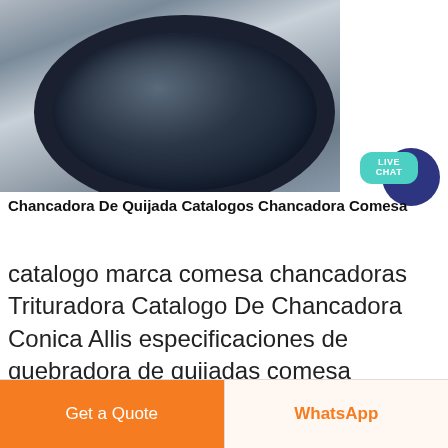[Figure (photo): Aerial view of a large circular industrial crusher/mill structure seen from above, showing a circular dark structure with fan-like internal divisions, surrounded by a white rim and scaffolding/industrial framework.]
Chancadora De Quijada Catalogos Chancadora Comesa
catalogo marca comesa chancadoras Trituradora Catalogo De Chancadora Conica Allis especificaciones de quebradora de quijadas comesa catalogos de chancadoras Parfums d´Parfums y gana el 100 en
Get a Quote
WhatsApp